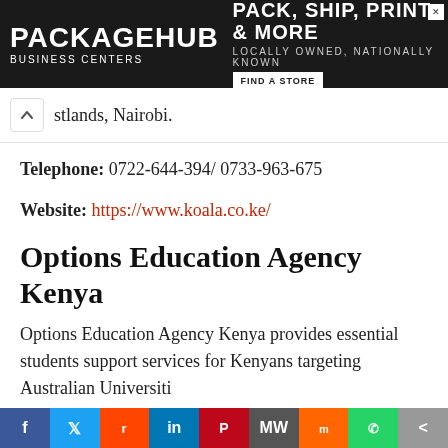[Figure (other): PackageHub Business Centers advertisement banner: PACK, SHIP, PRINT & MORE. Locally owned, nationally known. Find a store button.]
stlands, Nairobi.
Telephone: 0722-644-394/ 0733-963-675
Website: https://www.koala.co.ke/
Options Education Agency Kenya
Options Education Agency Kenya provides essential students support services for Kenyans targeting Australian Universiti
[Figure (other): Social media sharing bar with icons for Facebook, Twitter, Reddit, LinkedIn, Pinterest, MeWe, Mix, WhatsApp, and More.]